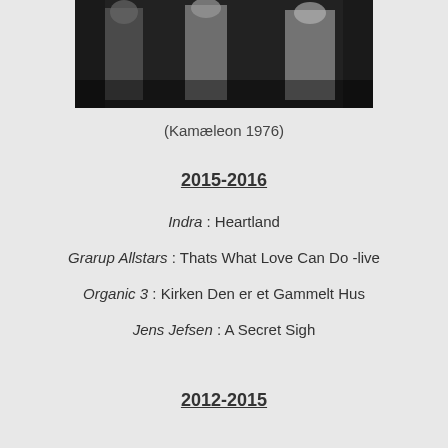[Figure (photo): Black and white concert photo showing performers on stage]
(Kamæleon 1976)
2015-2016
Indra : Heartland
Grarup Allstars : Thats What Love Can Do -live
Organic 3 : Kirken Den er et Gammelt Hus
Jens Jefsen :  A Secret Sigh
2012-2015